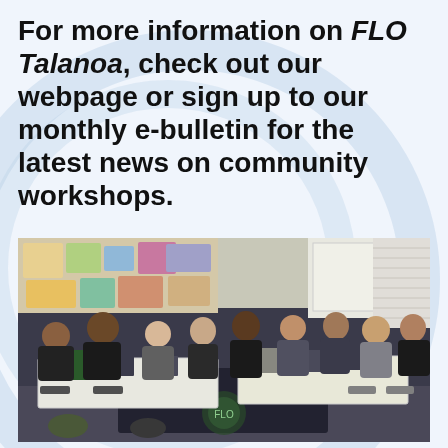For more information on FLO Talanoa, check out our webpage or sign up to our monthly e-bulletin for the latest news on community workshops.
[Figure (photo): Group of approximately nine people seated around tables in a community meeting room, with colourful posters on the wall in the background. A dark tablecloth covers the front table. The participants appear to be engaged in a workshop or discussion.]